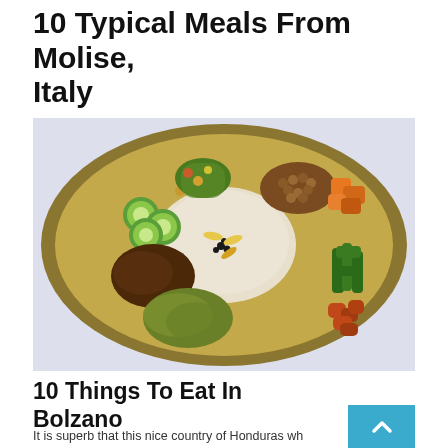10 Typical Meals From Molise, Italy
[Figure (photo): A metal thali plate with various food items arranged around a central mound of rice/oats, including cucumber slices, chickpeas, cooked greens, fried pieces, stewed vegetables, and garnishes.]
10 Things To Eat In Bolzano
It is superb that this nice country of Honduras wh